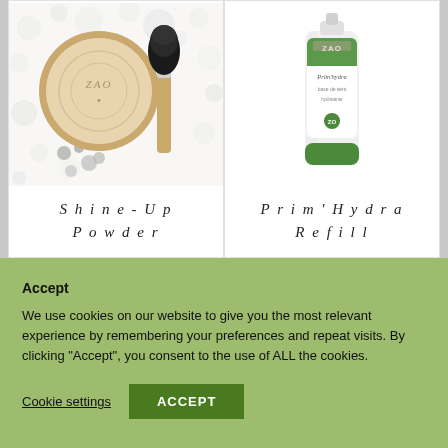[Figure (photo): Flat lay photo of a zao compact powder and makeup brush with confetti on white background]
Shine-Up
Powder
[Figure (photo): Product photo of zao Prim'Hydra Refill tube on white background]
Prim'Hydra
Refill
Accept
We use cookies on our website to give you the most relevant experience by remembering your preferences and repeat visits. By clicking “Accept”, you consent to the use of ALL the cookies.
Cookie settings
ACCEPT